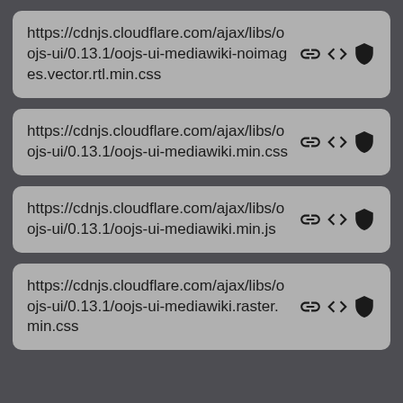https://cdnjs.cloudflare.com/ajax/libs/oojs-ui/0.13.1/oojs-ui-mediawiki-noimages.vector.rtl.min.css
https://cdnjs.cloudflare.com/ajax/libs/oojs-ui/0.13.1/oojs-ui-mediawiki.min.css
https://cdnjs.cloudflare.com/ajax/libs/oojs-ui/0.13.1/oojs-ui-mediawiki.min.js
https://cdnjs.cloudflare.com/ajax/libs/oojs-ui/0.13.1/oojs-ui-mediawiki.raster.min.css